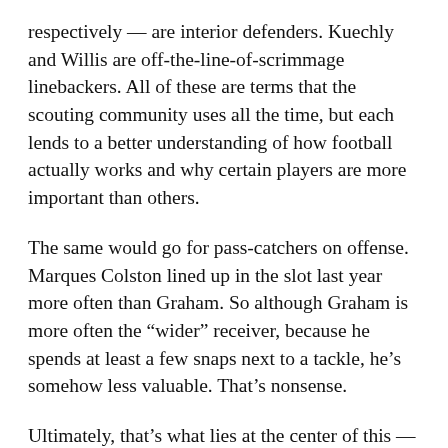respectively — are interior defenders. Kuechly and Willis are off-the-line-of-scrimmage linebackers. All of these are terms that the scouting community uses all the time, but each lends to a better understanding of how football actually works and why certain players are more important than others.
The same would go for pass-catchers on offense. Marques Colston lined up in the slot last year more often than Graham. So although Graham is more often the “wider” receiver, because he spends at least a few snaps next to a tackle, he’s somehow less valuable. That’s nonsense.
Ultimately, that’s what lies at the center of this — value. The reason a tight end makes less than a wide receiver as they’re currently defined is that wide receivers are typically perceived as being more valuable pieces of an offense. That